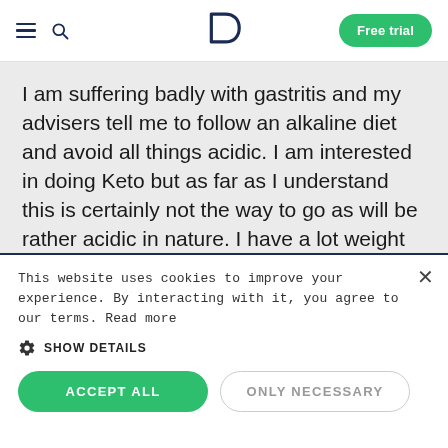D — Free trial
I am suffering badly with gastritis and my advisers tell me to follow an alkaline diet and avoid all things acidic. I am interested in doing Keto but as far as I understand this is certainly not the way to go as will be rather acidic in nature. I have a lot weight to lose, presently at 140 kg. Anyone with gastritis/keto experience who can comment on this issue.
This website uses cookies to improve your experience. By interacting with it, you agree to our terms. Read more
SHOW DETAILS
ACCEPT ALL
ONLY NECESSARY